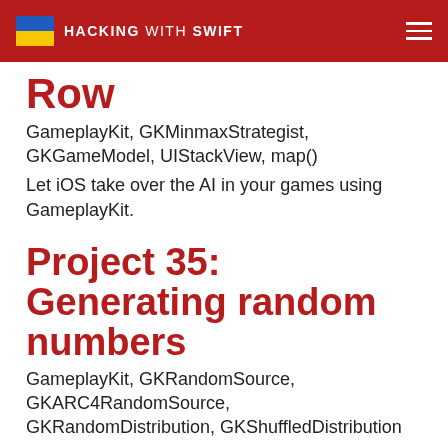HACKING WITH SWIFT
Row
GameplayKit, GKMinmaxStrategist, GKGameModel, UIStackView, map()
Let iOS take over the AI in your games using GameplayKit.
Project 35: Generating random numbers
GameplayKit, GKRandomSource, GKARC4RandomSource, GKRandomDistribution, GKShuffledDistribution